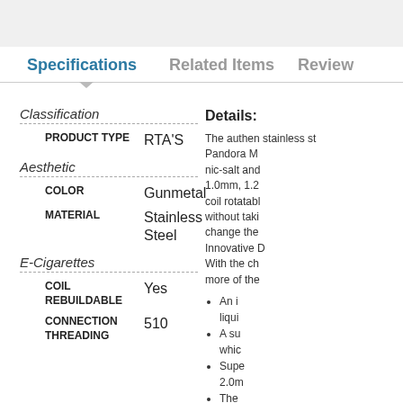Specifications | Related Items | Review
Classification
| Attribute | Value |
| --- | --- |
| PRODUCT TYPE | RTA'S |
| COLOR | Gunmetal |
| MATERIAL | Stainless Steel |
| COIL REBUILDABLE | Yes |
| CONNECTION THREADING | 510 |
Details:
The authentic stainless st Pandora M nic-salt and 1.0mm, 1.2 coil rotatable without taki change the Innovative D With the ch more of the
An i liqui
A su whic
Supe 2.0m
The